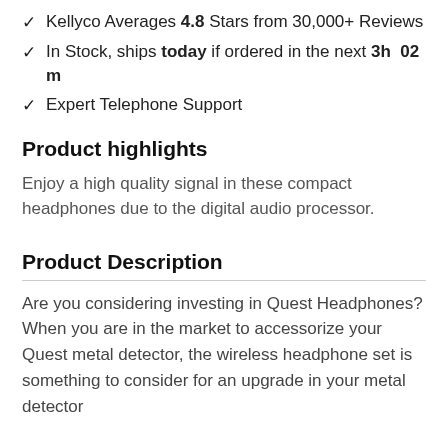Kellyco Averages 4.8 Stars from 30,000+ Reviews
In Stock, ships today if ordered in the next 3h  02m
Expert Telephone Support
Product highlights
Enjoy a high quality signal in these compact headphones due to the digital audio processor.
Product Description
Are you considering investing in Quest Headphones? When you are in the market to accessorize your Quest metal detector, the wireless headphone set is something to consider for an upgrade in your metal detector